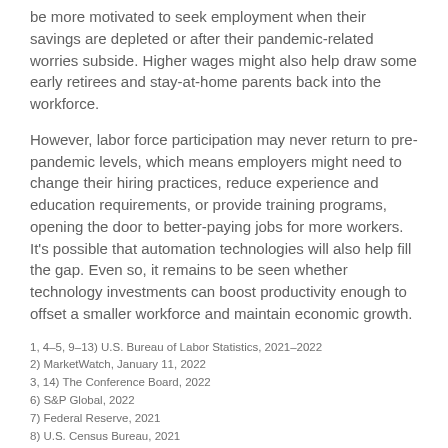be more motivated to seek employment when their savings are depleted or after their pandemic-related worries subside. Higher wages might also help draw some early retirees and stay-at-home parents back into the workforce.
However, labor force participation may never return to pre-pandemic levels, which means employers might need to change their hiring practices, reduce experience and education requirements, or provide training programs, opening the door to better-paying jobs for more workers. It's possible that automation technologies will also help fill the gap. Even so, it remains to be seen whether technology investments can boost productivity enough to offset a smaller workforce and maintain economic growth.
1, 4–5, 9–13) U.S. Bureau of Labor Statistics, 2021–2022
2) MarketWatch, January 11, 2022
3, 14) The Conference Board, 2022
6) S&P Global, 2022
7) Federal Reserve, 2021
8) U.S. Census Bureau, 2021